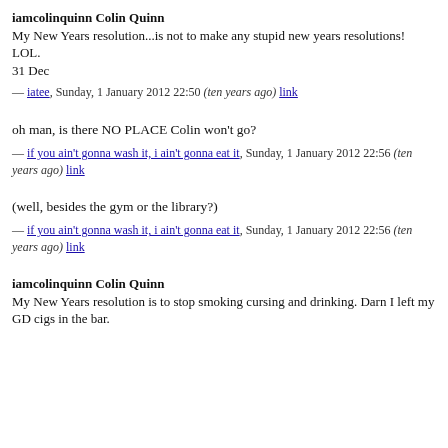iamcolinquinn Colin Quinn
My New Years resolution...is not to make any stupid new years resolutions! LOL.
31 Dec
— iatee, Sunday, 1 January 2012 22:50 (ten years ago) link
oh man, is there NO PLACE Colin won't go?
— if you ain't gonna wash it, i ain't gonna eat it, Sunday, 1 January 2012 22:56 (ten years ago) link
(well, besides the gym or the library?)
— if you ain't gonna wash it, i ain't gonna eat it, Sunday, 1 January 2012 22:56 (ten years ago) link
iamcolinquinn Colin Quinn
My New Years resolution is to stop smoking cursing and drinking. Darn I left my GD cigs in the bar.